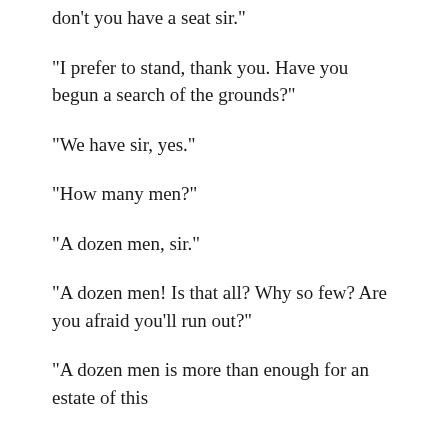don’t you have a seat sir.”
“I prefer to stand, thank you. Have you begun a search of the grounds?”
“We have sir, yes.”
“How many men?”
“A dozen men, sir.”
“A dozen men! Is that all? Why so few? Are you afraid you’ll run out?”
“A dozen men is more than enough for an estate of this